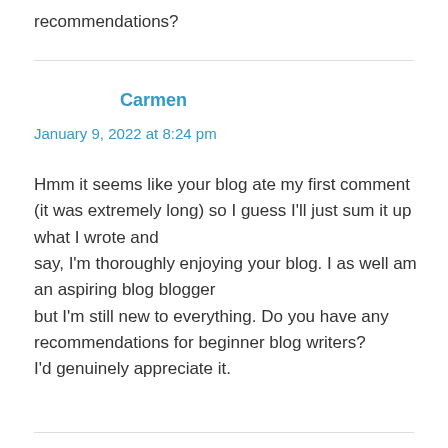recommendations?
Carmen
January 9, 2022 at 8:24 pm
Hmm it seems like your blog ate my first comment (it was extremely long) so I guess I'll just sum it up what I wrote and say, I'm thoroughly enjoying your blog. I as well am an aspiring blog blogger but I'm still new to everything. Do you have any recommendations for beginner blog writers? I'd genuinely appreciate it.